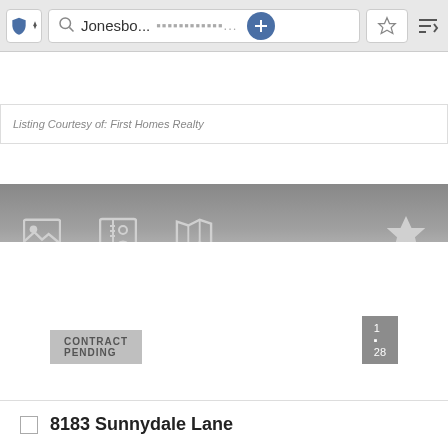[Figure (screenshot): Mobile app navigation bar with shield/location icon, search box showing 'Jonesbo...' and placeholder dots, plus button, star/bookmark button, and sort icon]
Listing Courtesy of: First Homes Realty
[Figure (screenshot): Dark gradient toolbar with image gallery icon, contact card icon, map icon, and star/favorite icon on the right]
[Figure (screenshot): Image viewer area with left and right navigation arrows and a loading spinner in the center]
CONTRACT PENDING
1 of 28
8183 Sunnydale Lane